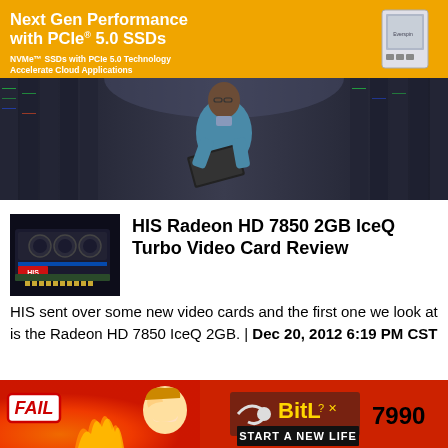[Figure (photo): Advertisement banner: orange section with bold white headline 'Next Gen Performance with PCIe 5.0 SSDs' and subtext 'NVMe SSDs with PCIe 5.0 Technology Accelerate Cloud Applications', plus SSD product image. Below is a photo of a man in a blue sweater holding a laptop standing in a data center server room.]
HIS Radeon HD 7850 2GB IceQ Turbo Video Card Review
HIS sent over some new video cards and the first one we look at is the Radeon HD 7850 IceQ 2GB. | Dec 20, 2012 6:19 PM CST
[Figure (photo): Advertisement banner: BitLife game ad with red background, FAIL badge, cartoon character, flame, BitLife logo with question mark and X icon, and text 'START A NEW LIFE'. Number 7990 visible on right.]